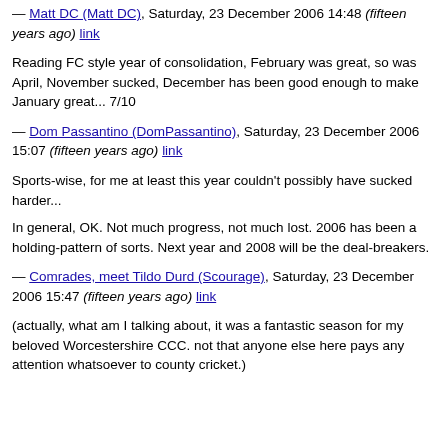— Matt DC (Matt DC), Saturday, 23 December 2006 14:48 (fifteen years ago) link
Reading FC style year of consolidation, February was great, so was April, November sucked, December has been good enough to make January great... 7/10
— Dom Passantino (DomPassantino), Saturday, 23 December 2006 15:07 (fifteen years ago) link
Sports-wise, for me at least this year couldn't possibly have sucked harder...
In general, OK. Not much progress, not much lost. 2006 has been a holding-pattern of sorts. Next year and 2008 will be the deal-breakers.
— Comrades, meet Tildo Durd (Scourage), Saturday, 23 December 2006 15:47 (fifteen years ago) link
(actually, what am I talking about, it was a fantastic season for my beloved Worcestershire CCC. not that anyone else here pays any attention whatsoever to county cricket.)